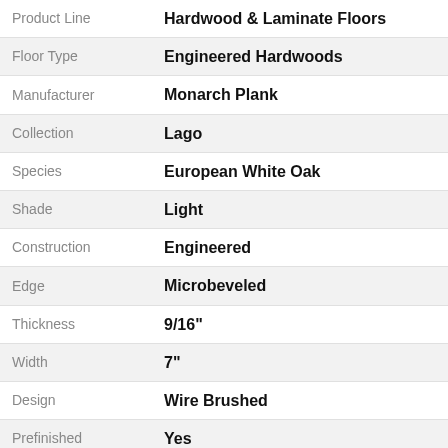| Attribute | Value |
| --- | --- |
| Product Line | Hardwood & Laminate Floors |
| Floor Type | Engineered Hardwoods |
| Manufacturer | Monarch Plank |
| Collection | Lago |
| Species | European White Oak |
| Shade | Light |
| Construction | Engineered |
| Edge | Microbeveled |
| Thickness | 9/16" |
| Width | 7" |
| Design | Wire Brushed |
| Prefinished | Yes |
| Finish | Polyurethane |
| Installation | Glue, Staple, Float |
| Coverage | 20-24 Sq. Ft. per Box |